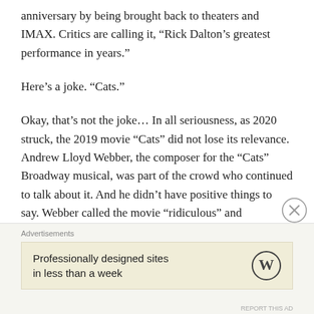anniversary by being brought back to theaters and IMAX. Critics are calling it, “Rick Dalton’s greatest performance in years.”
Here’s a joke. “Cats.”
Okay, that’s not the joke… In all seriousness, as 2020 struck, the 2019 movie “Cats” did not lose its relevance. Andrew Lloyd Webber, the composer for the “Cats” Broadway musical, was part of the crowd who continued to talk about it. And he didn’t have positive things to say. Webber called the movie “riculous” and
Advertisements
Professionally designed sites in less than a week